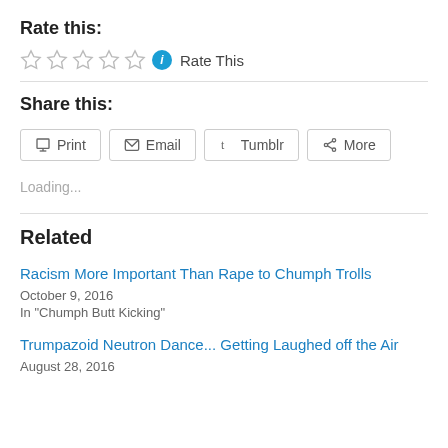Rate this:
[Figure (other): Five empty star rating icons followed by a blue info icon and 'Rate This' text]
Share this:
[Figure (other): Four share buttons: Print, Email, Tumblr, More]
Loading...
Related
Racism More Important Than Rape to Chumph Trolls
October 9, 2016
In "Chumph Butt Kicking"
Trumpazoid Neutron Dance... Getting Laughed off the Air
August 28, 2016